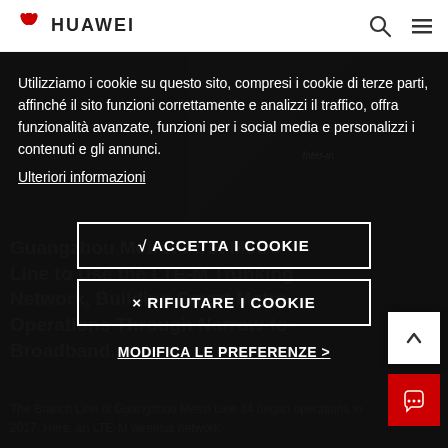[Figure (logo): Huawei logo with red flower/petals icon and HUAWEI brand name in black letters]
Utilizziamo i cookie su questo sito, compresi i cookie di terze parti, affinché il sito funzioni correttamente e analizzi il traffico, offra funzionalità avanzate, funzioni per i social media e personalizzi i contenuti e gli annunci.
Ulteriori informazioni
√ ACCETTA I COOKIE
× RIFIUTARE I COOKIE
MODIFICA LE PREFERENZE >
Guangzhou Metro: First Metro Line to Use the LTE-M Trunking Network, Building Smart Metro Operations Through Narrow-to-Broadband...
The Branch Line of Guangzhou Metro Line 14 began operations in 2017. Here, an LTE-M wireless network